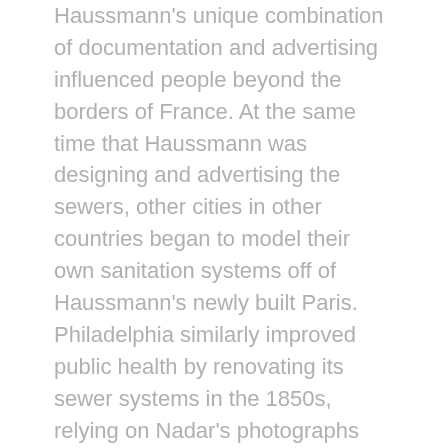Haussmann's unique combination of documentation and advertising influenced people beyond the borders of France. At the same time that Haussmann was designing and advertising the sewers, other cities in other countries began to model their own sanitation systems off of Haussmann's newly built Paris. Philadelphia similarly improved public health by renovating its sewer systems in the 1850s, relying on Nadar's photographs and site tours in France as models. The municipal government was inspired by Haussmann's desire of "controlling subterranean waste," and recognized the importance of sanitation in disease prevention.[38] City leaders feared "miasmas," which was loosely defined as